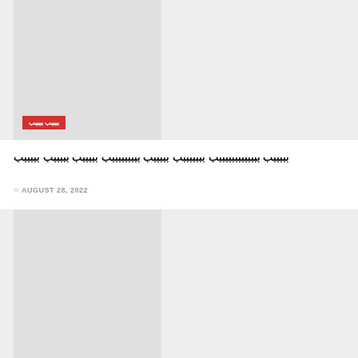[Figure (photo): Top image placeholder with light gray background and darker left panel]
ببببب بببب
بببببب بببببببببببببب بببببببب بببببب بببببببببب بببببب بببببب بببببب
AUGUST 28, 2022
[Figure (photo): Bottom image placeholder with light gray background and darker left panel]